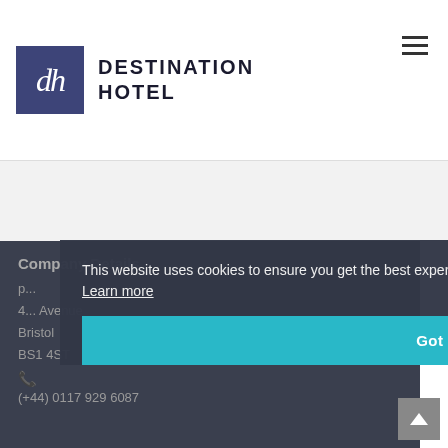[Figure (logo): Destination Hotel logo with dark blue square containing 'dh' monogram and brand name text]
Company Details
This website uses cookies to ensure you get the best experience on our website. Learn more
Got it!
4... Avenue
Bristol
BS1 4ST
(+44) 0117 929 6087